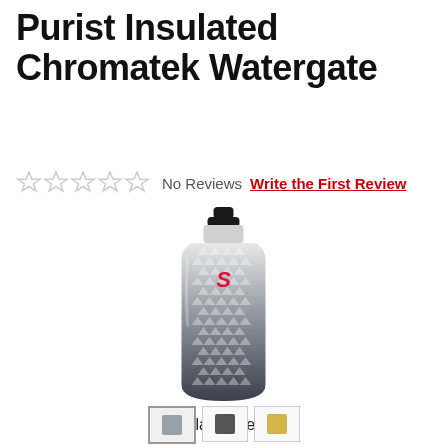Purist Insulated Chromatek Watergate
No Reviews   Write the First Review
[Figure (photo): Specialized Purist Insulated Chromatek Watergate water bottle in Black/Grey colorway. The bottle has a black cap, with a pattern of small triangles/diamonds that transitions from clear/white at the top to dark grey/black at the bottom. A red Specialized 'S' logo is visible on the upper portion of the bottle.]
Black/Grey